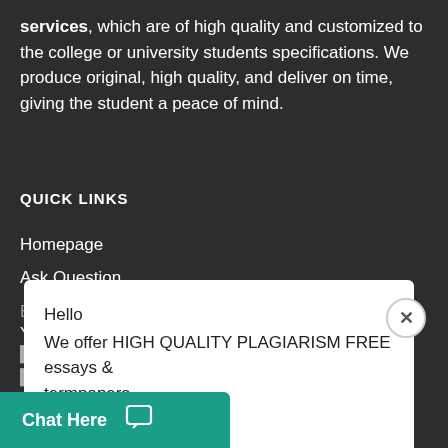services, which are of high quality and customized to the college or university students specifications. We produce original, high quality, and deliver on time, giving the student a peace of mind.
QUICK LINKS
Homepage
Ask Question
Blog...
Hello
We offer HIGH QUALITY PLAGIARISM FREE essays & termpapers.

Chat...
You will develop a presentation consisting of 8 slides ... slide for the leaders ... community-based
Chat Here